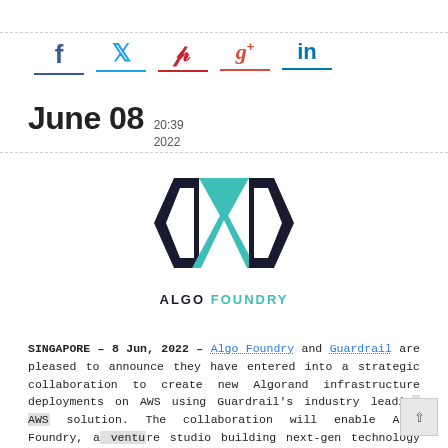[Figure (other): Social media share icons: Facebook (f), Twitter (bird), Pinterest (p), Google+ (g+), LinkedIn (in), each with a colored underline]
June 08  20:39  2022
[Figure (logo): Algo Foundry logo: geometric diamond/arrow shapes in teal and dark navy, with text ALGO FOUNDRY below]
SINGAPORE – 8 Jun, 2022 – Algo Foundry and Guardrail are pleased to announce they have entered into a strategic collaboration to create new Algorand infrastructure deployments on AWS using Guardrail's industry leading AWS solution. The collaboration will enable Algo Foundry, a venture studio building next-gen technology products, to build more